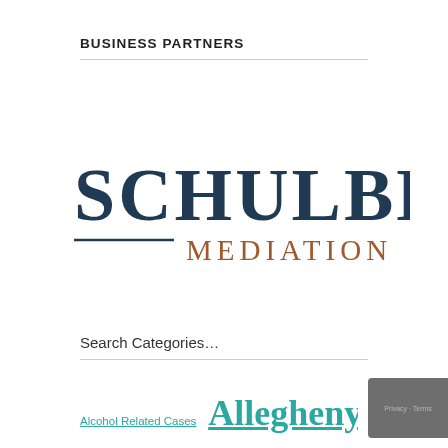BUSINESS PARTNERS
[Figure (logo): Schulberg Mediation logo — 'SCHULBERG' in large dark navy serif type, with a horizontal line and 'MEDIATION' in brown/copper serif type below]
Search Categories…
Alcohol Related Cases  Allegheny